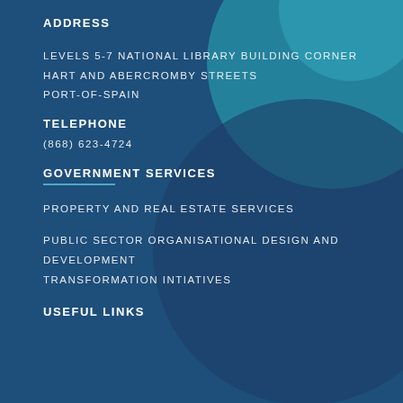ADDRESS
LEVELS 5-7 NATIONAL LIBRARY BUILDING CORNER HART AND ABERCROMBY STREETS PORT-OF-SPAIN
TELEPHONE
(868) 623-4724
GOVERNMENT SERVICES
PROPERTY AND REAL ESTATE SERVICES
PUBLIC SECTOR ORGANISATIONAL DESIGN AND DEVELOPMENT TRANSFORMATION INTIATIVES
USEFUL LINKS